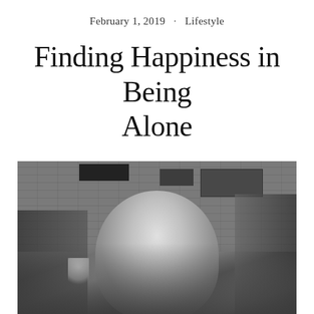February 1, 2019  ·  Lifestyle
Finding Happiness in Being Alone
[Figure (photo): Black and white photograph of a smiling young blonde woman sitting at a restaurant table, resting her chin on her hand, wearing a leopard print top and a watch, with a flower vase in the foreground and a brick wall in the background.]